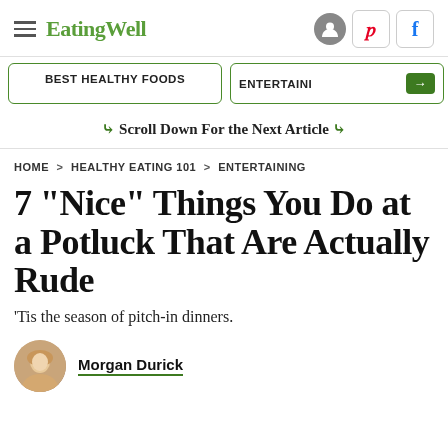EatingWell
BEST HEALTHY FOODS | ENTERTAINING
Scroll Down For the Next Article
HOME > HEALTHY EATING 101 > ENTERTAINING
7 "Nice" Things You Do at a Potluck That Are Actually Rude
'Tis the season of pitch-in dinners.
Morgan Durick